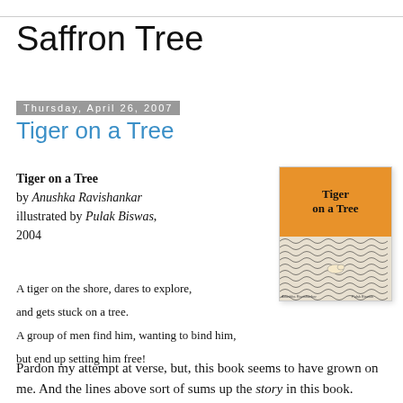Saffron Tree
Thursday, April 26, 2007
Tiger on a Tree
Tiger on a Tree
by Anushka Ravishankar
illustrated by Pulak Biswas, 2004
[Figure (illustration): Book cover of 'Tiger on a Tree' with orange top half showing title text and bottom half with black and white wave/scale pattern with a small tiger figure]
A tiger on the shore, dares to explore,
and gets stuck on a tree.
A group of men find him, wanting to bind him,
but end up setting him free!
Pardon my attempt at verse, but, this book seems to have grown on me. And the lines above sort of sums up the story in this book.